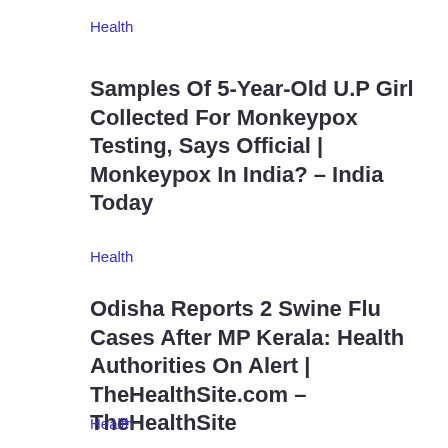Health
Samples Of 5-Year-Old U.P Girl Collected For Monkeypox Testing, Says Official | Monkeypox In India? – India Today
Health
Odisha Reports 2 Swine Flu Cases After MP Kerala: Health Authorities On Alert | TheHealthSite.com – TheHealthSite
Health